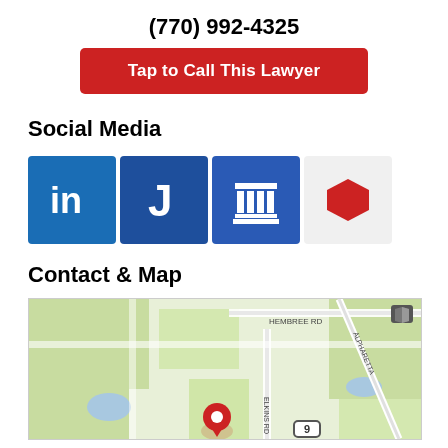(770) 992-4325
Tap to Call This Lawyer
Social Media
[Figure (other): Social media icons: LinkedIn (blue 'in' logo), Justia (blue 'J' logo), Avvo (blue columns/pillar logo), Martindale (red hexagon on light background)]
Contact & Map
[Figure (map): Street map showing area near Hembree Rd and Alpharetta Hwy with Elkins Rd. Green areas indicate parks/vegetation. A red location pin marker is visible near Elkins Rd intersection. Map attribution icon and route marker '9' visible.]